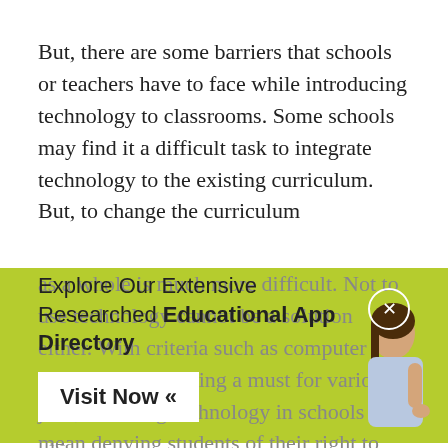But, there are some barriers that schools or teachers have to face while introducing technology to classrooms. Some schools may find it a difficult task to integrate technology to the existing curriculum. But, to change the curriculum as a whole is much more difficult. Not to use technology cannot be a solution either. With criteria such as computer knowledge becoming a must for various jobs, not using technology in schools mean denying students of their right to compete in future for the best opportunities. Hence, integrating
[Figure (infographic): Green promotional banner overlay with text 'Explore Our Extensive Researched Educational App Directory' and a 'Visit Now «' button, along with a close button (×) and an image of a girl in the bottom right corner.]